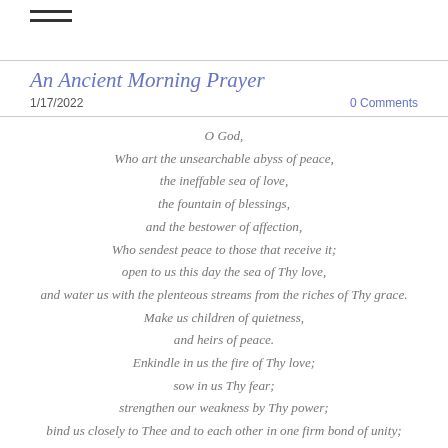☰
An Ancient Morning Prayer
1/17/2022
0 Comments
O God,
Who art the unsearchable abyss of peace,
the ineffable sea of love,
the fountain of blessings,
and the bestower of affection,
Who sendest peace to those that receive it;
open to us this day the sea of Thy love,
and water us with the plenteous streams from the riches of Thy grace.
Make us children of quietness,
and heirs of peace.
Enkindle in us the fire of Thy love;
sow in us Thy fear;
strengthen our weakness by Thy power;
bind us closely to Thee and to each other in one firm bond of unity;